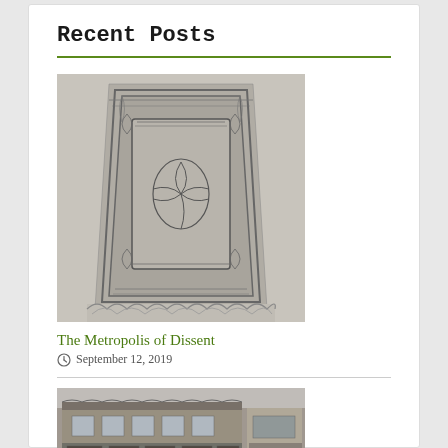Recent Posts
[Figure (illustration): Pencil sketch drawing of an ornate Celtic/Viking style carved stone monument or cross base, covered in intricate knotwork and animal interlace patterns, sitting in grass.]
The Metropolis of Dissent
September 12, 2019
[Figure (photo): Black and white historical photograph of a storefront with ornate facade, showing what appears to be a shop or business building from the early 20th century.]